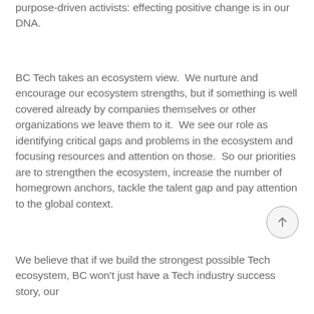purpose-driven activists:  effecting positive change is in our DNA.
BC Tech takes an ecosystem view.  We nurture and encourage our ecosystem strengths, but if something is well covered already by companies themselves or other organizations we leave them to it.  We see our role as identifying critical gaps and problems in the ecosystem and focusing resources and attention on those.  So our priorities are to strengthen the ecosystem, increase the number of homegrown anchors, tackle the talent gap and pay attention to the global context.
We believe that if we build the strongest possible Tech ecosystem, BC won't just have a Tech industry success story, our